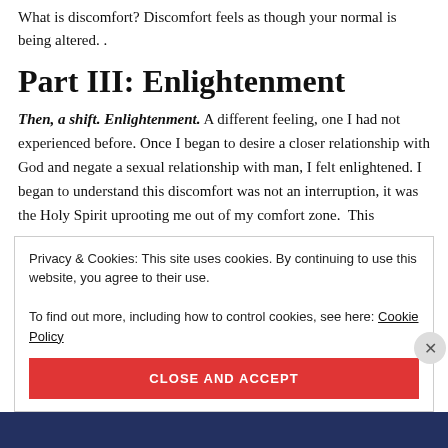What is discomfort? Discomfort feels as though your normal is being altered. .
Part III: Enlightenment
Then, a shift. Enlightenment. A different feeling, one I had not experienced before. Once I began to desire a closer relationship with God and negate a sexual relationship with man, I felt enlightened. I began to understand this discomfort was not an interruption, it was the Holy Spirit uprooting me out of my comfort zone.  This
Privacy & Cookies: This site uses cookies. By continuing to use this website, you agree to their use.
To find out more, including how to control cookies, see here: Cookie Policy
CLOSE AND ACCEPT